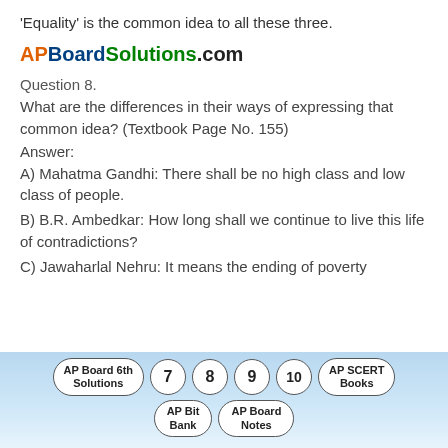'Equality' is the common idea to all these three.
APBoardSolutions.com
Question 8.
What are the differences in their ways of expressing that common idea? (Textbook Page No. 155)
Answer:
A) Mahatma Gandhi: There shall be no high class and low class of people.
B) B.R. Ambedkar: How long shall we continue to live this life of contradictions?
C) Jawaharlal Nehru: It means the ending of poverty
AP Board 6th Solutions | 7 | 8 | AP Bit Bank | 9 | AP Board Notes | 10 | AP SCERT Books